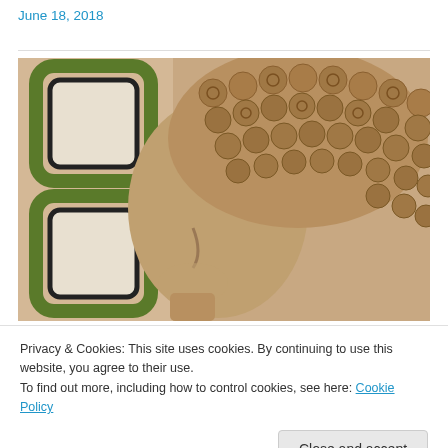June 18, 2018
[Figure (photo): Close-up photo of a stone or ceramic Buddha face with curly hair/ushnisha and decorative green geometric pattern on the left side]
Privacy & Cookies: This site uses cookies. By continuing to use this website, you agree to their use.
To find out more, including how to control cookies, see here: Cookie Policy
Close and accept
[Figure (photo): Partial bottom image, cropped]